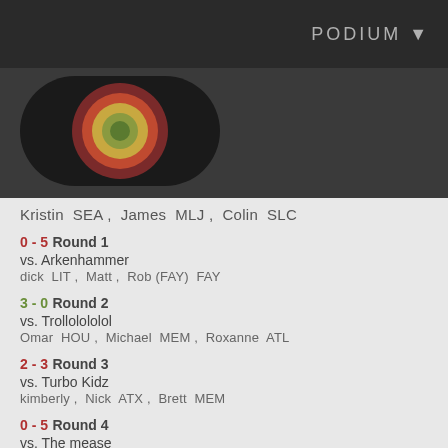PODIUM ▼
[Figure (logo): Circular concentric rings logo in dark green, olive, yellow, and dark red/pink on a dark background pill shape]
Kristin SEA , James MLJ , Colin SLC
0 - 5 Round 1
vs. Arkenhammer
dick LIT , Matt , Rob (FAY) FAY
3 - 0 Round 2
vs. Trollolololol
Omar HOU , Michael MEM , Roxanne ATL
2 - 3 Round 3
vs. Turbo Kidz
kimberly , Nick ATX , Brett MEM
0 - 5 Round 4
vs. The mease
Leemster , spencer , Branden ANC
1 - 0 Round 5
vs. Instant Mix
2 - 4 Winners Bracket
vs. Chronic Warriors
Jew SAT , Meatloaf , Bradley MEM